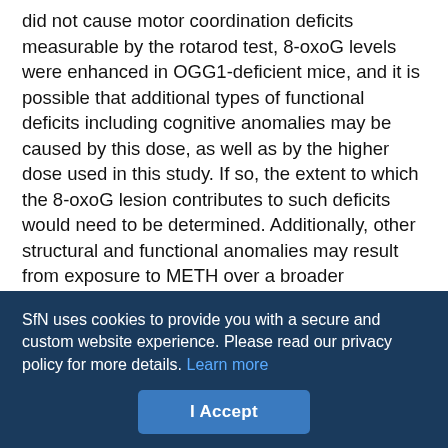did not cause motor coordination deficits measurable by the rotarod test, 8-oxoG levels were enhanced in OGG1-deficient mice, and it is possible that additional types of functional deficits including cognitive anomalies may be caused by this dose, as well as by the higher dose used in this study. If so, the extent to which the 8-oxoG lesion contributes to such deficits would need to be determined. Additionally, other structural and functional anomalies may result from exposure to METH over a broader gestational period compared with the single dose used in this study.
Protection by OGG1 against both oxidative DNA damage in fetal brain and postnatal neurodevelopmental deficits was also gene dose-dependent, because –/– mice were more susceptible to METH-
SfN uses cookies to provide you with a secure and custom website experience. Please read our privacy policy for more details. Learn more
I Accept